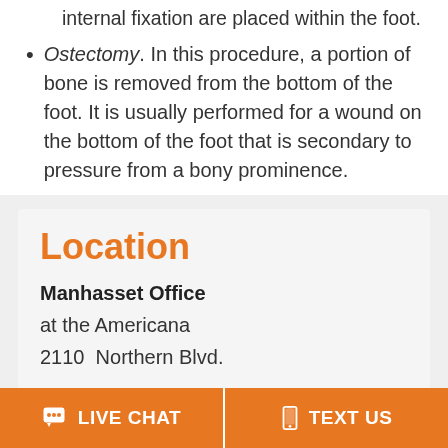internal fixation are placed within the foot.
Ostectomy. In this procedure, a portion of bone is removed from the bottom of the foot. It is usually performed for a wound on the bottom of the foot that is secondary to pressure from a bony prominence.
Location
Manhasset Office
at the Americana
2110  Northern Blvd.
LIVE CHAT
TEXT US